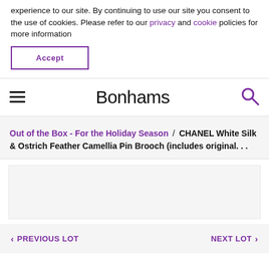experience to our site. By continuing to use our site you consent to the use of cookies. Please refer to our privacy and cookie policies for more information
Accept
Bonhams
Out of the Box - For the Holiday Season / CHANEL White Silk & Ostrich Feather Camellia Pin Brooch (includes original...
[Figure (other): White rectangular image placeholder area]
< PREVIOUS LOT    NEXT LOT >